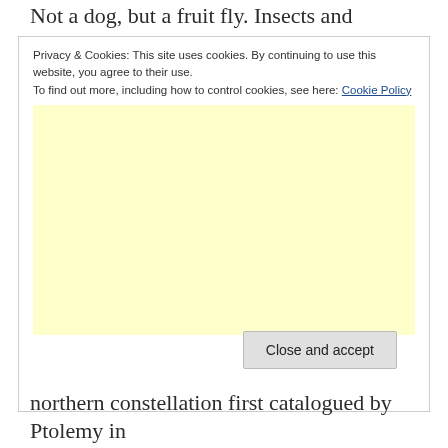Not a dog, but a fruit fly. Insects and arachnids have
Privacy & Cookies: This site uses cookies. By continuing to use this website, you agree to their use.
To find out more, including how to control cookies, see here: Cookie Policy
[Figure (other): Yellow/cream colored advertisement placeholder area]
Close and accept
northern constellation first catalogued by Ptolemy in